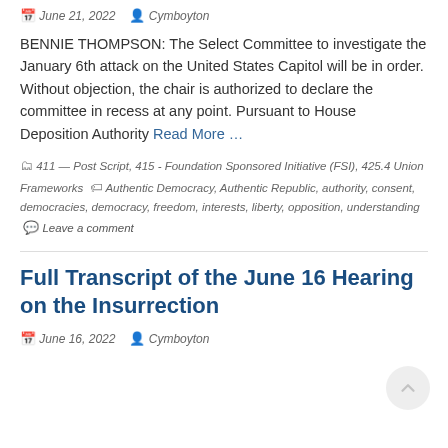June 21, 2022  Cymboyton
BENNIE THOMPSON: The Select Committee to investigate the January 6th attack on the United States Capitol will be in order. Without objection, the chair is authorized to declare the committee in recess at any point. Pursuant to House Deposition Authority Read More ...
411 — Post Script, 415 - Foundation Sponsored Initiative (FSI), 425.4 Union Frameworks  Authentic Democracy, Authentic Republic, authority, consent, democracies, democracy, freedom, interests, liberty, opposition, understanding  Leave a comment
Full Transcript of the June 16 Hearing on the Insurrection
June 16, 2022  Cymboyton